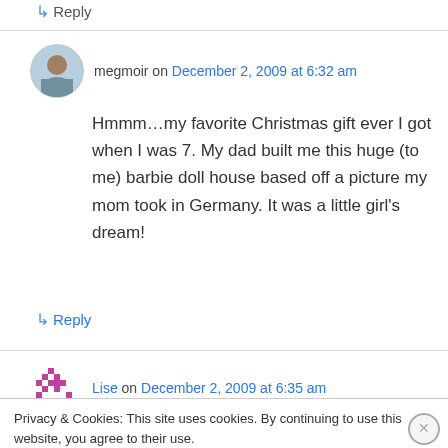↳ Reply
megmoir on December 2, 2009 at 6:32 am
Hmmm…my favorite Christmas gift ever I got when I was 7. My dad built me this huge (to me) barbie doll house based off a picture my mom took in Germany. It was a little girl's dream!
↳ Reply
Lise on December 2, 2009 at 6:35 am
Privacy & Cookies: This site uses cookies. By continuing to use this website, you agree to their use.
To find out more, including how to control cookies, see here: Cookie Policy
Close and accept